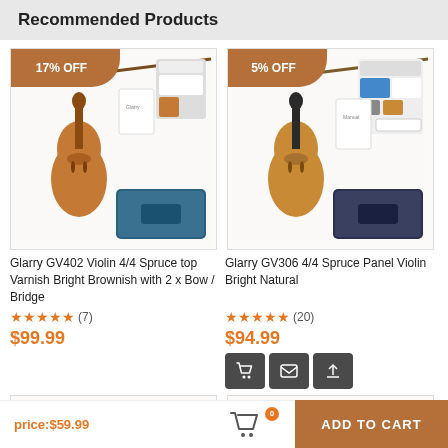Recommended Products
[Figure (photo): Violin product image for Glarry GV402 with 17% OFF badge, showing violin, bow, case, and accessories]
Glarry GV402 Violin 4/4 Spruce top Varnish Bright Brownish with 2 x Bow / Bridge
★★★★★ (7)
$99.99
[Figure (photo): Violin product image for Glarry GV306 with 5% OFF badge, showing violin, bow, case, and accessories]
Glarry GV306 4/4 Spruce Panel Violin Bright Natural
★★★★★ (20)
$94.99
price:$59.99   [cart icon with 0]   ADD TO CART